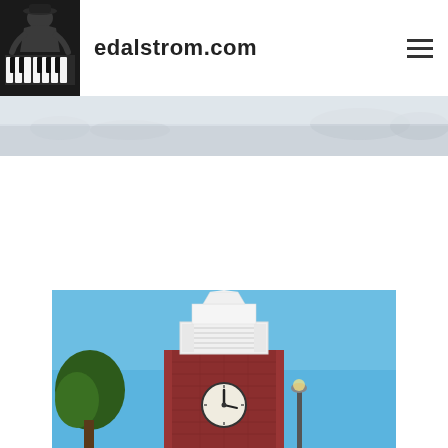[Figure (photo): Person seated at a keyboard/organ instrument, header logo photo]
edalstrom.com
[Figure (photo): Light gray banner/hero strip with faint landscape imagery]
[Figure (photo): Church bell tower with clock face against blue sky, red brick base with white steeple]